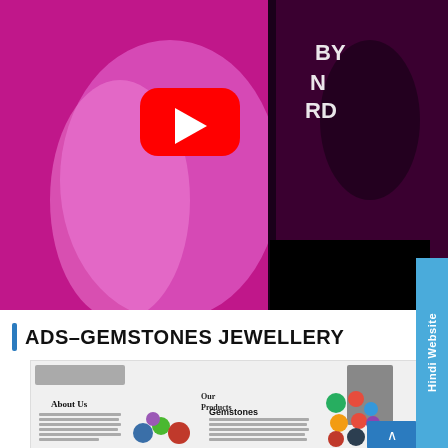[Figure (screenshot): YouTube video thumbnail showing women in bright pink/magenta traditional Indian dress on a stage, with a YouTube play button overlay and YouTube watermark in the bottom right corner.]
ADS-GEMSTONES JEWELLERY
[Figure (screenshot): Screenshot of a gemstones jewellery website showing 'About Us' section, 'Our Products' section with 'Gemstones' category, colorful gemstone images, and descriptive text.]